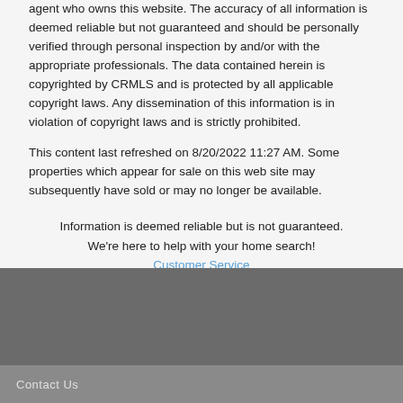agent who owns this website. The accuracy of all information is deemed reliable but not guaranteed and should be personally verified through personal inspection by and/or with the appropriate professionals. The data contained herein is copyrighted by CRMLS and is protected by all applicable copyright laws. Any dissemination of this information is in violation of copyright laws and is strictly prohibited.
This content last refreshed on 8/20/2022 11:27 AM. Some properties which appear for sale on this web site may subsequently have sold or may no longer be available.
Information is deemed reliable but is not guaranteed.
We're here to help with your home search!
Customer Service
OUR COMMUNITIES
Contact Us